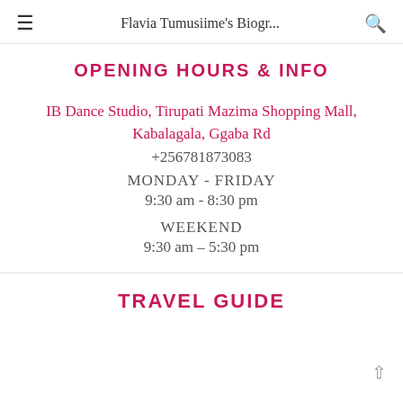Flavia Tumusiime's Biogr...
OPENING HOURS & INFO
IB Dance Studio, Tirupati Mazima Shopping Mall, Kabalagala, Ggaba Rd
+256781873083
MONDAY - FRIDAY
9:30 am - 8:30 pm
WEEKEND
9:30 am – 5:30 pm
TRAVEL GUIDE